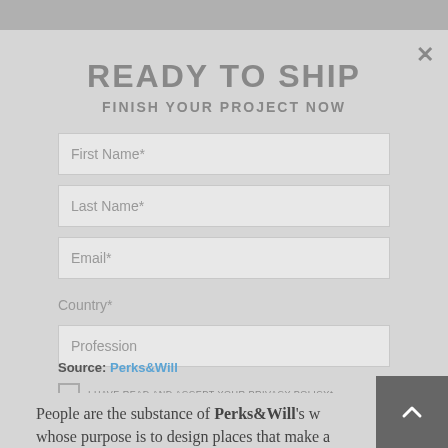READY TO SHIP
FINISH YOUR PROJECT NOW
First Name*
Last Name*
Email*
Country*
Profession
I HAVE READ AND ACCEPT YOUR PRIVACY POLICY*
Source: Perks&Will
DOWNLOAD
People are the substance of Perks&Will's w... whose purpose is to design places that make a